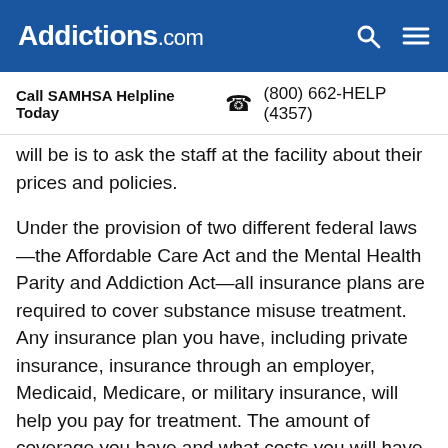Addictions.com
Call SAMHSA Helpline Today  (800) 662-HELP (4357)
will be is to ask the staff at the facility about their prices and policies.
Under the provision of two different federal laws—the Affordable Care Act and the Mental Health Parity and Addiction Act—all insurance plans are required to cover substance misuse treatment. Any insurance plan you have, including private insurance, insurance through an employer, Medicaid, Medicare, or military insurance, will help you pay for treatment. The amount of coverage you have and what costs you will have to pay yourself depend on your insurance plan. You may be able to go to rehab without paying any additional out-of-pocket costs. Alternately, you may